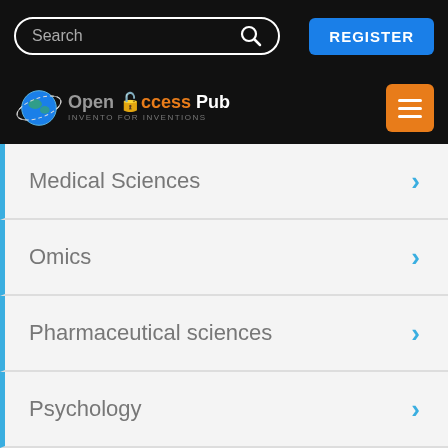[Figure (screenshot): Search bar with placeholder text 'Search' and a magnifying glass icon, on a black background]
[Figure (logo): Open Access Pub logo with globe icon, orange 'access' text, white 'Open' and 'Pub' text, and tagline 'INVENTO FOR INVENTIONS']
Medical Sciences
Omics
Pharmaceutical sciences
Psychology
Social science